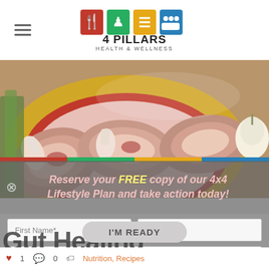[Figure (logo): 4 Pillars Health & Wellness logo with four colored icon squares (red fork/knife, green figure, orange lines, blue people) and text '4 PILLARS HEALTH & WELLNESS']
[Figure (photo): Raw meat/lamb chops on a red and yellow plate with garlic and vegetables on a wooden cutting board]
Reserve your FREE copy of our 4x4 Lifestyle Plan and take action today!
First Name*
Last Name
Email
I'M READY
Gut Healing Beverages
1  0  Nutrition, Recipes